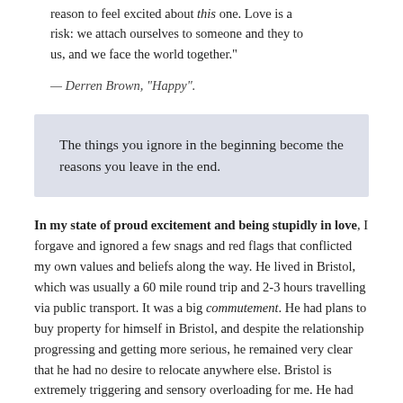reason to feel excited about this one. Love is a risk: we attach ourselves to someone and they to us, and we face the world together.
— Derren Brown, "Happy".
The things you ignore in the beginning become the reasons you leave in the end.
In my state of proud excitement and being stupidly in love, I forgave and ignored a few snags and red flags that conflicted my own values and beliefs along the way. He lived in Bristol, which was usually a 60 mile round trip and 2-3 hours travelling via public transport. It was a big commutement. He had plans to buy property for himself in Bristol, and despite the relationship progressing and getting more serious, he remained very clear that he had no desire to relocate anywhere else. Bristol is extremely triggering and sensory overloading for me. He had quite a